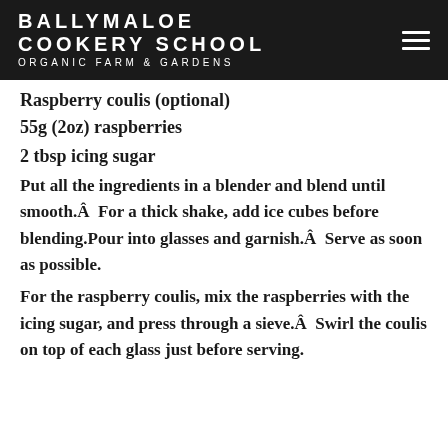BALLYMALOE COOKERY SCHOOL ORGANIC FARM & GARDENS
Raspberry coulis (optional)
55g (2oz) raspberries
2 tbsp icing sugar
Put all the ingredients in a blender and blend until smooth.Â  For a thick shake, add ice cubes before blending.Pour into glasses and garnish.Â  Serve as soon as possible.
For the raspberry coulis, mix the raspberries with the icing sugar, and press through a sieve.Â  Swirl the coulis on top of each glass just before serving.